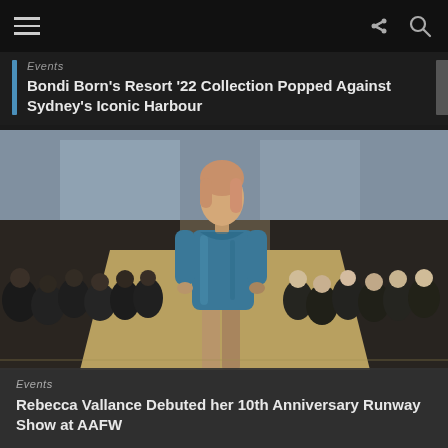Navigation bar with hamburger menu, share icon, and search icon
Events
Bondi Born's Resort '22 Collection Popped Against Sydney's Iconic Harbour
[Figure (photo): A model in a teal/blue long-sleeve velvet mini dress walking a runway, with a seated audience on both sides in a large indoor space.]
Events
Rebecca Vallance Debuted her 10th Anniversary Runway Show at AAFW